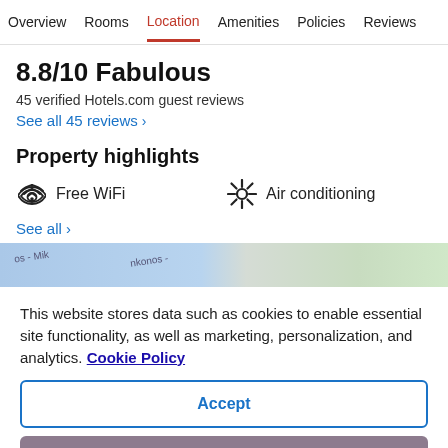Overview  Rooms  Location  Amenities  Policies  Reviews
8.8/10 Fabulous
45 verified Hotels.com guest reviews
See all 45 reviews  >
Property highlights
Free WiFi
Air conditioning
See all  >
[Figure (map): A map strip showing roads and terrain near Mykonos]
This website stores data such as cookies to enable essential site functionality, as well as marketing, personalization, and analytics. Cookie Policy
Accept
Deny